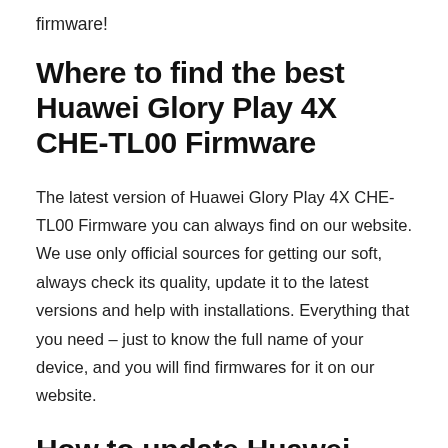firmware!
Where to find the best Huawei Glory Play 4X CHE-TL00 Firmware
The latest version of Huawei Glory Play 4X CHE-TL00 Firmware you can always find on our website. We use only official sources for getting our soft, always check its quality, update it to the latest versions and help with installations. Everything that you need – just to know the full name of your device, and you will find firmwares for it on our website.
How to update Huawei Glory